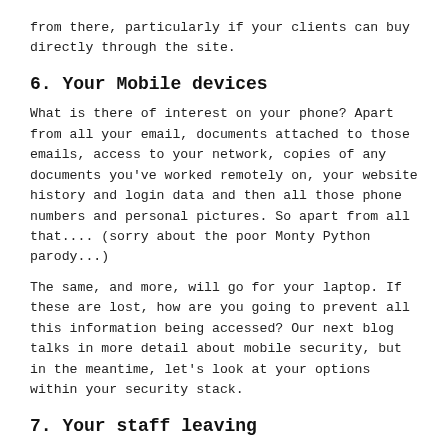from there, particularly if your clients can buy directly through the site.
6. Your Mobile devices
What is there of interest on your phone? Apart from all your email, documents attached to those emails, access to your network, copies of any documents you've worked remotely on, your website history and login data and then all those phone numbers and personal pictures. So apart from all that.... (sorry about the poor Monty Python parody...)
The same, and more, will go for your laptop. If these are lost, how are you going to prevent all this information being accessed? Our next blog talks in more detail about mobile security, but in the meantime, let's look at your options within your security stack.
7. Your staff leaving
When a member of staff leaves, and you've had a BYOD policy, do you wipe their phones and other mobile devices? These devices may have a huge amount of your company data on them. Once that person is no